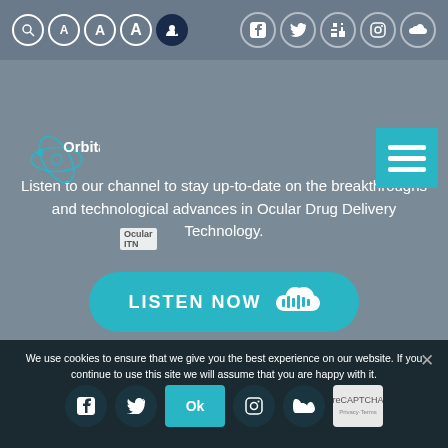[Figure (screenshot): Top navigation bar with search, font size controls (A A A), login button, and social media icons (Facebook, Twitter, LinkedIn, Instagram, SoundCloud) on grey background]
[Figure (logo): Orbital ITN logo with circular orbit graphic and text 'Orbital' and 'Ocular ITN' label]
Listen to our channel to stay up-to-date on the breakthroughs and technological advances in Ocular Drug Delivery Technology.
[Figure (other): Teal 'LISTEN NOW' button with SoundCloud icon]
We use cookies to ensure that we give you the best experience on our website. If you continue to use this site we will assume that you are happy with it.
[Figure (screenshot): Footer social media icons row (Facebook, Twitter, Ok button, Instagram, SoundCloud) and reCAPTCHA widget]